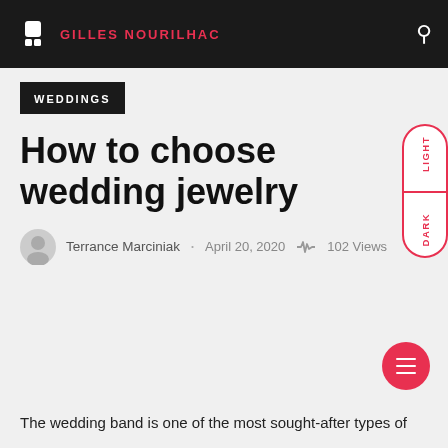GILLES NOURILHAC
WEDDINGS
How to choose wedding jewelry
Terrance Marciniak · April 20, 2020 ~ 102 Views
The wedding band is one of the most sought-after types of